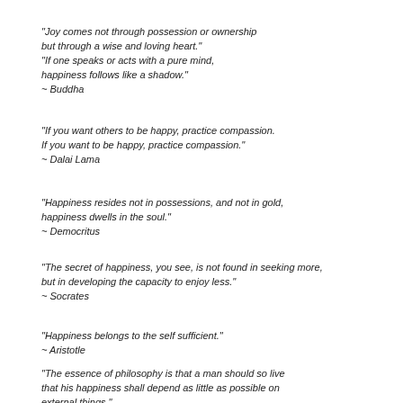“Joy comes not through possession or ownership but through a wise and loving heart.” “If one speaks or acts with a pure mind, happiness follows like a shadow.” ~ Buddha
“If you want others to be happy, practice compassion. If you want to be happy, practice compassion.” ~ Dalai Lama
“Happiness resides not in possessions, and not in gold, happiness dwells in the soul.” ~ Democritus
“The secret of happiness, you see, is not found in seeking more, but in developing the capacity to enjoy less.” ~ Socrates
“Happiness belongs to the self sufficient.” ~ Aristotle
“The essence of philosophy is that a man should so live that his happiness shall depend as little as possible on external things.” ~ Epictetus
“Do not spoil what you have by desiring what you have not;